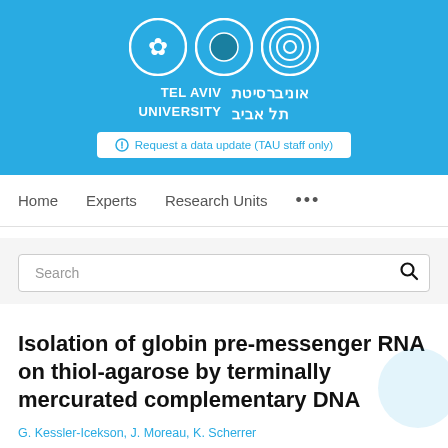[Figure (logo): Tel Aviv University logo with three circular emblems and bilingual name in English and Hebrew on a blue background, with a 'Request a data update (TAU staff only)' button]
Home   Experts   Research Units   ...
Search
Isolation of globin pre-messenger RNA on thiol-agarose by terminally mercurated complementary DNA
G. Kessler-Icekson, J. Moreau, K. Scherrer